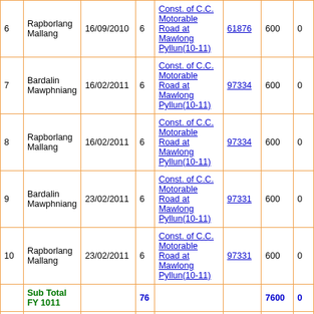| # | Name | Date | Sl | Work | Voucher | Amount | Col8 |
| --- | --- | --- | --- | --- | --- | --- | --- |
| 6 | Rapborlang Mallang | 16/09/2010 | 6 | Const. of C.C. Motorable Road at Mawlong Pyllun(10-11) | 61876 | 600 | 0 |
| 7 | Bardalin Mawphniang | 16/02/2011 | 6 | Const. of C.C. Motorable Road at Mawlong Pyllun(10-11) | 97334 | 600 | 0 |
| 8 | Rapborlang Mallang | 16/02/2011 | 6 | Const. of C.C. Motorable Road at Mawlong Pyllun(10-11) | 97334 | 600 | 0 |
| 9 | Bardalin Mawphniang | 23/02/2011 | 6 | Const. of C.C. Motorable Road at Mawlong Pyllun(10-11) | 97331 | 600 | 0 |
| 10 | Rapborlang Mallang | 23/02/2011 | 6 | Const. of C.C. Motorable Road at Mawlong Pyllun(10-11) | 97331 | 600 | 0 |
|  | Sub Total FY 1011 |  | 76 |  |  | 7600 | 0 |